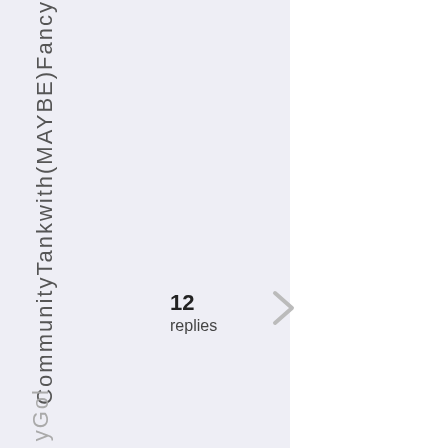CommunityTankwith(MAYBE)Fancyy Gold
12 replies
[Figure (other): Chevron/arrow icon pointing right]